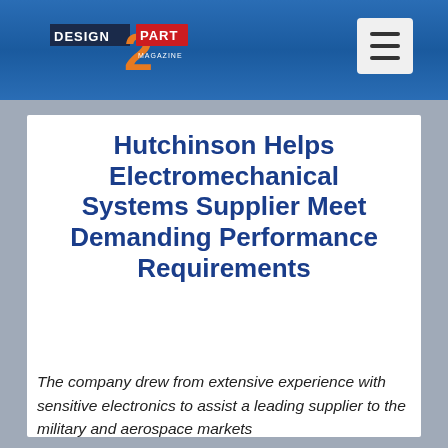Design 2 Part Magazine
Hutchinson Helps Electromechanical Systems Supplier Meet Demanding Performance Requirements
The company drew from extensive experience with sensitive electronics to assist a leading supplier to the military and aerospace markets